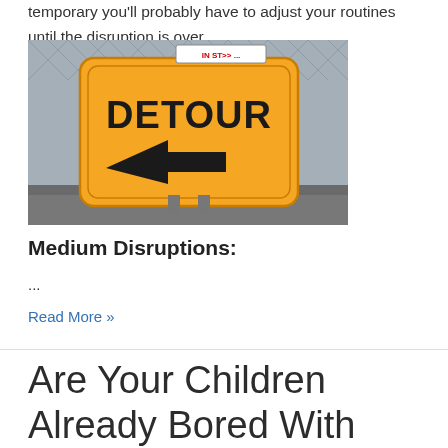temporary you'll probably have to adjust your routines until the disruption is over.
[Figure (photo): Orange detour sign with left-pointing arrow, mounted on a chain-link fence gate on a road surface.]
Medium Disruptions:
...
Read More »
Are Your Children Already Bored With Summer?